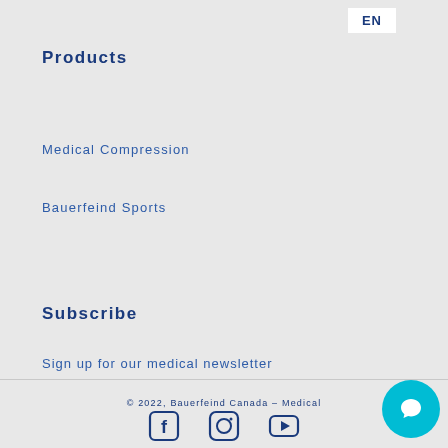EN
Products
Medical Compression
Bauerfeind Sports
Subscribe
Sign up for our medical newsletter
[Figure (infographic): Social media icons: Facebook, Instagram, YouTube]
© 2022, Bauerfeind Canada – Medical